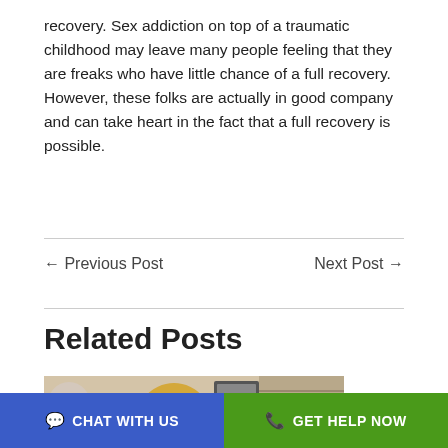recovery. Sex addiction on top of a traumatic childhood may leave many people feeling that they are freaks who have little chance of a full recovery. However, these folks are actually in good company and can take heart in the fact that a full recovery is possible.
← Previous Post
Next Post →
Related Posts
[Figure (photo): A smiling couple (woman with blonde hair, man with brown hair) sitting in what appears to be a counseling or office setting, with a partially visible third person on the left.]
CHAT WITH US  GET HELP NOW